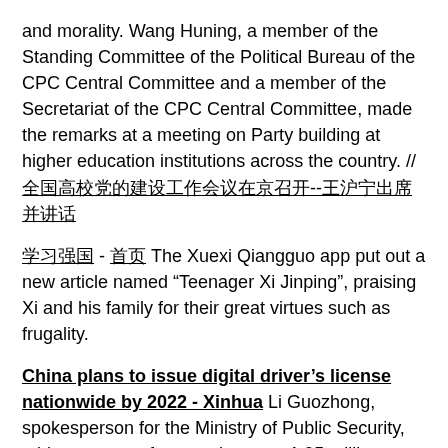and morality. Wang Huning, a member of the Standing Committee of the Political Bureau of the CPC Central Committee and a member of the Secretariat of the CPC Central Committee, made the remarks at a meeting on Party building at higher education institutions across the country. // [Chinese text underlined]
[Chinese text underlined] - [Chinese text underlined] The Xuexi Qiangguo app put out a new article named “Teenager Xi Jinping”, praising Xi and his family for their great virtues such as frugality.
China plans to issue digital driver's license nationwide by 2022 - Xinhua Li Guozhong, spokesperson for the Ministry of Public Security, told a press conference that over 1.95 million people have obtained digital driver's licenses since a pilot program